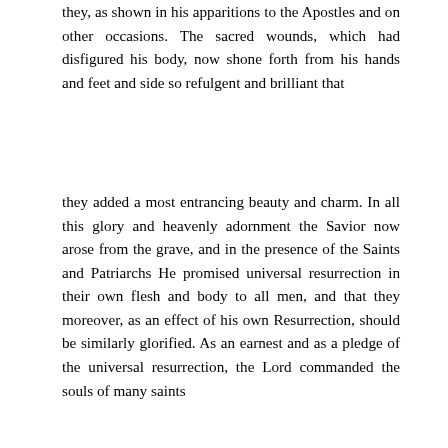they, as shown in his apparitions to the Apostles and on other occasions. The sacred wounds, which had disfigured his body, now shone forth from his hands and feet and side so refulgent and brilliant that
they added a most entrancing beauty and charm. In all this glory and heavenly adornment the Savior now arose from the grave, and in the presence of the Saints and Patriarchs He promised universal resurrection in their own flesh and body to all men, and that they moreover, as an effect of his own Resurrection, should be similarly glorified. As an earnest and as a pledge of the universal resurrection, the Lord commanded the souls of many saints